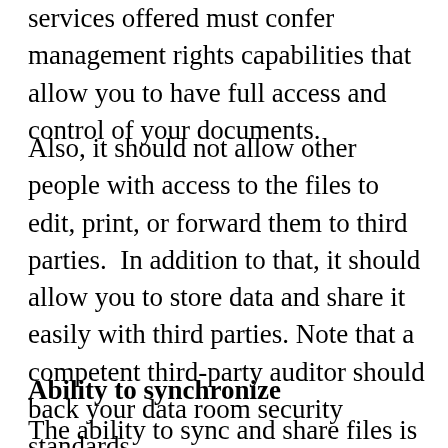services offered must confer management rights capabilities that allow you to have full access and control of your documents.
Also, it should not allow other people with access to the files to edit, print, or forward them to third parties.  In addition to that, it should allow you to store data and share it easily with third parties. Note that a competent third-party auditor should back your data room security standards.
Ability to synchronize
The ability to sync and share files is critical to an entrepreneur. As a result, your data center